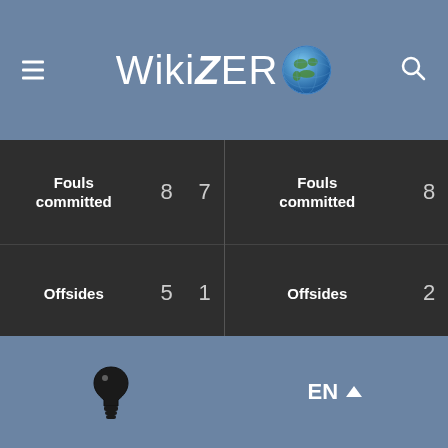WikiZero
| Stat | Val1 | Val2 |
| --- | --- | --- |
| Fouls committed | 8 | 7 |
| Offsides | 5 | 1 |
| Yellow cards | 0 | 0 |
| Red cards | 0 | 0 |
First half
| Stat | Val1 |
| --- | --- |
| Fouls committed | 8 |
| Offsides | 2 |
| Yellow cards | 0 |
| Red cards | 0 |
Second half and extra ti...
EN